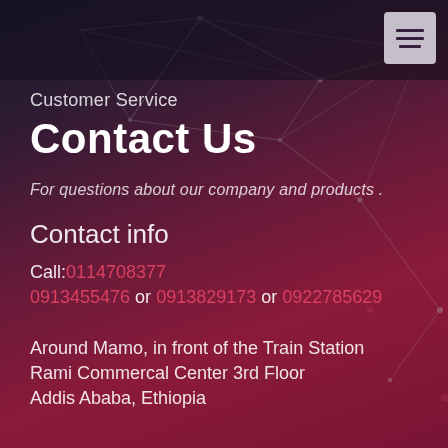Customer Service
Contact Us
For questions about our company and products .
Contact info
Call:0114708377
0913455476 or 0913829173 or 0922785629
Around Mamo, in front of the Train Station
Rami Commercal Center 3rd Floor
Addis Ababa, Ethiopia